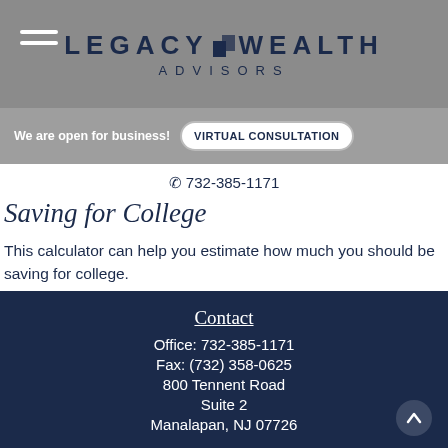Legacy Wealth Advisors
We are open for business! VIRTUAL CONSULTATION
732-385-1171
Saving for College
This calculator can help you estimate how much you should be saving for college.
Contact
Office: 732-385-1171
Fax: (732) 358-0625
800 Tennent Road
Suite 2
Manalapan, NJ 07726